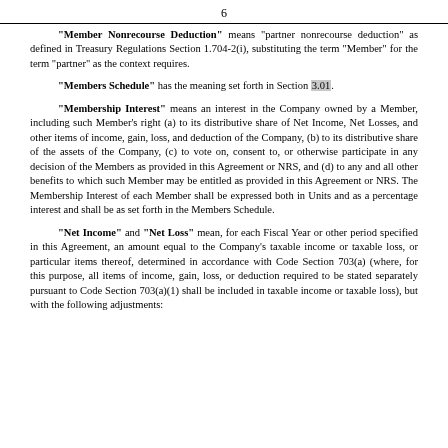6
"Member Nonrecourse Deduction" means "partner nonrecourse deduction" as defined in Treasury Regulations Section 1.704-2(i), substituting the term "Member" for the term "partner" as the context requires.
"Members Schedule" has the meaning set forth in Section 3.01.
"Membership Interest" means an interest in the Company owned by a Member, including such Member's right (a) to its distributive share of Net Income, Net Losses, and other items of income, gain, loss, and deduction of the Company, (b) to its distributive share of the assets of the Company, (c) to vote on, consent to, or otherwise participate in any decision of the Members as provided in this Agreement or NRS, and (d) to any and all other benefits to which such Member may be entitled as provided in this Agreement or NRS. The Membership Interest of each Member shall be expressed both in Units and as a percentage interest and shall be as set forth in the Members Schedule.
"Net Income" and "Net Loss" mean, for each Fiscal Year or other period specified in this Agreement, an amount equal to the Company's taxable income or taxable loss, or particular items thereof, determined in accordance with Code Section 703(a) (where, for this purpose, all items of income, gain, loss, or deduction required to be stated separately pursuant to Code Section 703(a)(1) shall be included in taxable income or taxable loss), but with the following adjustments: